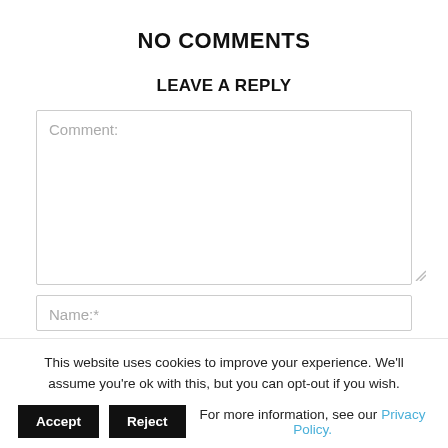NO COMMENTS
LEAVE A REPLY
[Figure (screenshot): Comment textarea input field with placeholder text 'Comment:']
[Figure (screenshot): Name input field with placeholder text 'Name:*']
This website uses cookies to improve your experience. We'll assume you're ok with this, but you can opt-out if you wish.
Accept  Reject  For more information, see our Privacy Policy.